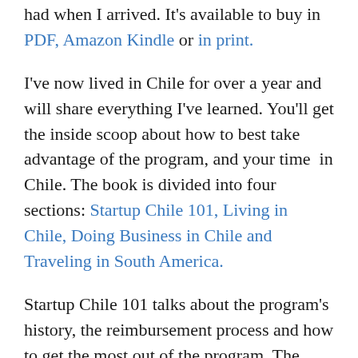had when I arrived.  It's available to buy in PDF, Amazon Kindle or in print.
I've now lived in Chile for over a year and will share everything I've learned.  You'll get the inside scoop about how to best take advantage of the program, and your time  in Chile.  The book is divided into four sections: Startup Chile 101, Living in Chile, Doing Business in Chile and Traveling in South America.
Startup Chile 101 talks about the program's history, the reimbursement process and how to get the most out of the program.  The second part covers Chilean culture, where to live, safety and a city guide detailing where to go out, have a beer or have a nice meal.  Part three talks about the Chil...